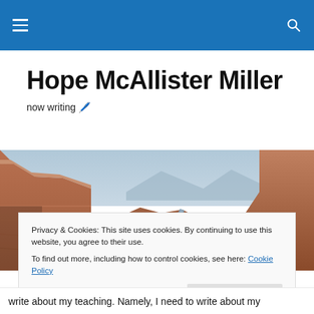Hope McAllister Miller – navigation bar
Hope McAllister Miller
now writing 🖊️
[Figure (photo): Wide panoramic photo of a canyon landscape with red rock mesa formations, a river winding through the canyon floor, and mountains in the background under a hazy sky]
Privacy & Cookies: This site uses cookies. By continuing to use this website, you agree to their use.
To find out more, including how to control cookies, see here: Cookie Policy

Close and accept
write about my teaching. Namely, I need to write about my